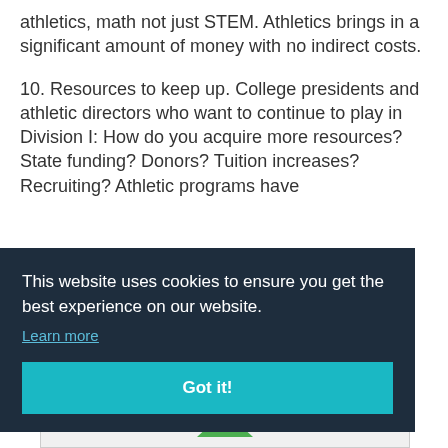athletics, math not just STEM. Athletics brings in a significant amount of money with no indirect costs.
10. Resources to keep up. College presidents and athletic directors who want to continue to play in Division I: How do you acquire more resources? State funding? Donors? Tuition increases? Recruiting? Athletic programs have
This website uses cookies to ensure you get the best experience on our website.
Learn more
Got it!
Think
emic
s
h of
[Figure (other): Advertisement banner at bottom of page with a logo and close button]